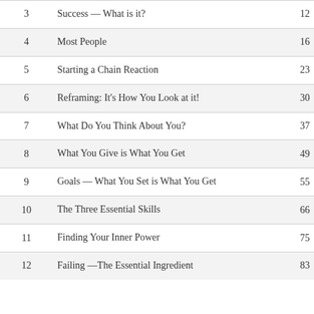| Chapter | Title | Page |
| --- | --- | --- |
| 3 | Success — What is it? | 12 |
| 4 | Most People | 16 |
| 5 | Starting a Chain Reaction | 23 |
| 6 | Reframing: It's How You Look at it! | 30 |
| 7 | What Do You Think About You? | 37 |
| 8 | What You Give is What You Get | 49 |
| 9 | Goals — What You Set is What You Get | 55 |
| 10 | The Three Essential Skills | 66 |
| 11 | Finding Your Inner Power | 75 |
| 12 | Failing —The Essential Ingredient | 83 |